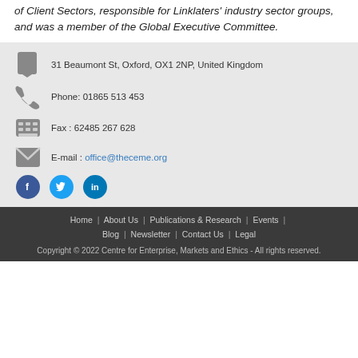of Client Sectors, responsible for Linklaters' industry sector groups, and was a member of the Global Executive Committee.
31 Beaumont St, Oxford, OX1 2NP, United Kingdom
Phone: 01865 513 453
Fax : 62485 267 628
E-mail : office@theceme.org
Home | About Us | Publications & Research | Events | Blog | Newsletter | Contact Us | Legal
Copyright © 2022 Centre for Enterprise, Markets and Ethics - All rights reserved.